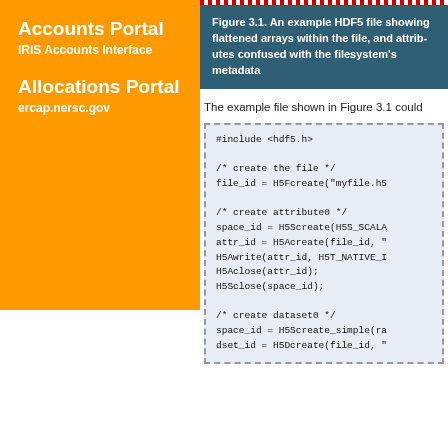Accounts Portal
IRIS Accounts Interface
Allocations Portal
ercap.nersc.gov
Figure 3.1. An example HDF5 file showing flattened arrays within the file, and attributes confused with the filesystem's metadata
The example file shown in Figure 3.1 could
[Figure (screenshot): Code block showing C HDF5 API calls including #include <hdf5.h>, H5Fcreate, H5Screate, H5Acreate, H5Awrite, H5Aclose, H5Sclose for attribute0, and H5Screate_simple, H5Dcreate for dataset0]